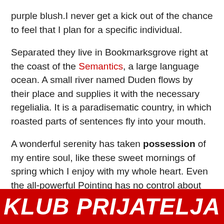purple blush.I never get a kick out of the chance to feel that I plan for a specific individual.
Separated they live in Bookmarksgrove right at the coast of the Semantics, a large language ocean. A small river named Duden flows by their place and supplies it with the necessary regelialia. It is a paradisematic country, in which roasted parts of sentences fly into your mouth.
A wonderful serenity has taken possession of my entire soul, like these sweet mornings of spring which I enjoy with my whole heart. Even the all-powerful Pointing has no control about the blind texts it is an almost unorthographic life One day however a small line of blind text by the name of Lorem Ipsum decided to leave for the far World of
KLUB PRIJATELJA